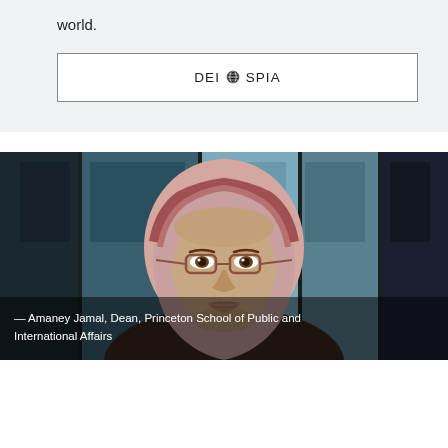world.
DEI @ SPIA
[Figure (photo): Portrait photo of Amaney Jamal, Dean of Princeton School of Public and International Affairs, wearing a hijab and glasses, with a blurred blue window background]
— Amaney Jamal, Dean, Princeton School of Public and International Affairs